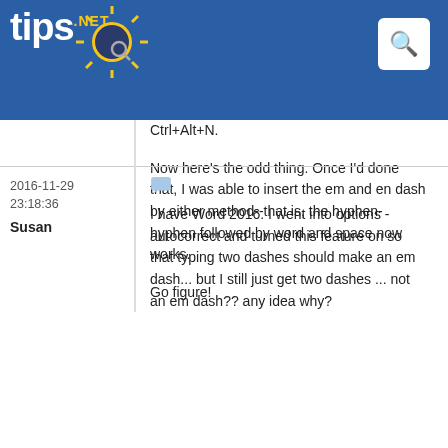tips.NET
Ctrl+Alt+N.
Now here's the odd thing. Once I'd done that, I was able to insert the em and en dash by either method--that is, the hyphen-hyphen followed by word and space now works.
Go figure!
2016-11-29 23:18:36
Susan
I have Word 2016. I went into options - autocorrect and turned this feature on so that typing two dashes should make an em dash... but I still just get two dashes ... not an em dash?? any idea why?